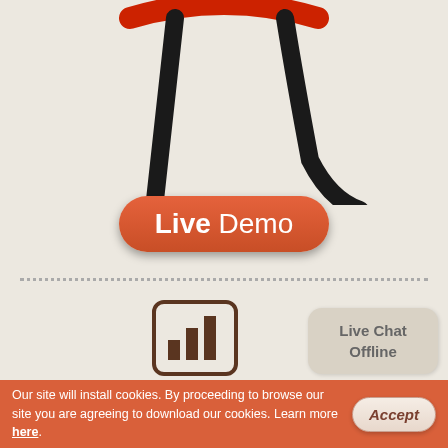[Figure (logo): Large pi symbol logo with a red curved top and black handwritten-style pi character below it]
[Figure (other): Orange rounded rectangle button labeled 'Live Demo']
[Figure (other): Dotted horizontal divider line]
[Figure (illustration): Bar chart icon inside a rounded square border, representing service guarantees]
Service guarantees
[Figure (other): Speech bubble with 'Live Chat Offline' text]
Our site will install cookies. By proceeding to browse our site you are agreeing to download our cookies. Learn more here.